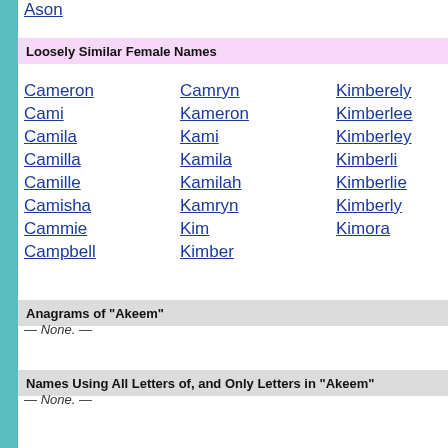Ason
Loosely Similar Female Names
Cameron
Cami
Camila
Camilla
Camille
Camisha
Cammie
Campbell
Camryn
Kameron
Kami
Kamila
Kamilah
Kamryn
Kim
Kimber
Kimberely
Kimberlee
Kimberley
Kimberli
Kimberlie
Kimberly
Kimora
Anagrams of "Akeem"
— None. —
Names Using All Letters of, and Only Letters in "Akeem"
— None. —